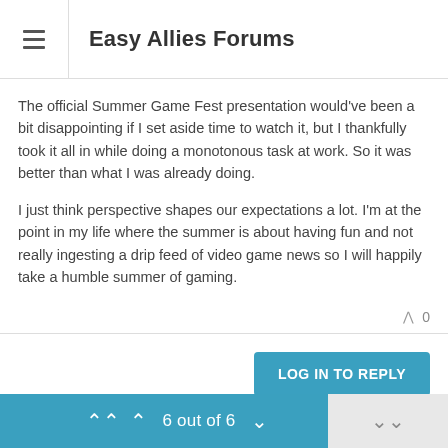Easy Allies Forums
The official Summer Game Fest presentation would've been a bit disappointing if I set aside time to watch it, but I thankfully took it all in while doing a monotonous task at work. So it was better than what I was already doing.
I just think perspective shapes our expectations a lot. I'm at the point in my life where the summer is about having fun and not really ingesting a drip feed of video game news so I will happily take a humble summer of gaming.
0
LOG IN TO REPLY
6 out of 6